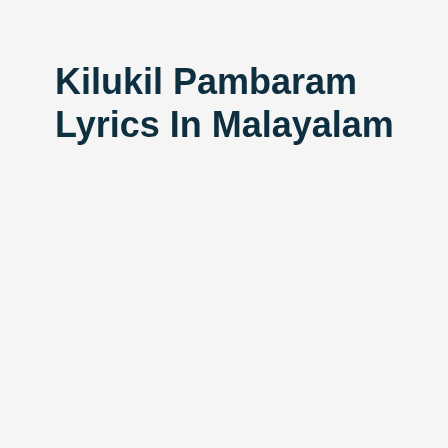Kilukil Pambaram Lyrics In Malayalam